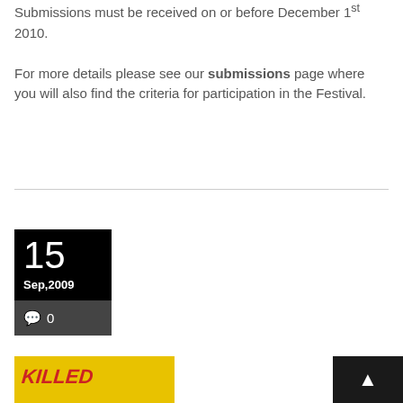Submissions must be received on or before December 1st 2010.

For more details please see our submissions page where you will also find the criteria for participation in the Festival.
[Figure (other): Black date badge showing '15 Sep,2009' with comment count 0 below in dark grey]
[Figure (photo): Thumbnail image with yellow background and red 'KILLED' text]
[Figure (other): Back to top button with upward arrow on dark background]